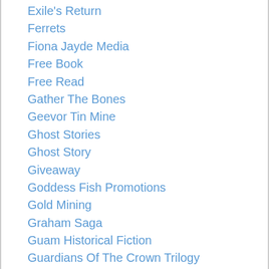Exile's Return
Ferrets
Fiona Jayde Media
Free Book
Free Read
Gather The Bones
Geevor Tin Mine
Ghost Stories
Ghost Story
Giveaway
Goddess Fish Promotions
Gold Mining
Graham Saga
Guam Historical Fiction
Guardians Of The Crown Trilogy
Harlequin Australia
Harlequin MIRA
Harriet Gordon Mysteries
HenryVIII
HF Virtual Book Tours
Highland Romance
Historical Fantasy R…